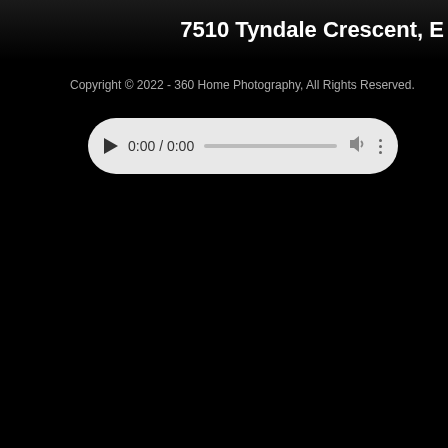7510 Tyndale Crescent, E
Copyright © 2022 - 360 Home Photography, All Rights Reserved.
[Figure (screenshot): Audio player control with play button showing 0:00 / 0:00, a progress bar, volume icon, and more options icon on a light grey rounded rectangle background.]